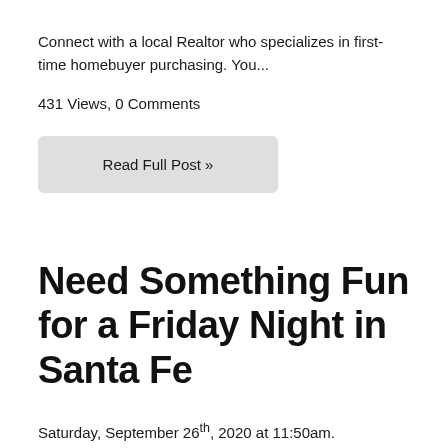Connect with a local Realtor who specializes in first-time homebuyer purchasing. You...
431 Views, 0 Comments
Read Full Post »
Need Something Fun for a Friday Night in Santa Fe
Saturday, September 26th, 2020 at 11:50am.
Jerome Leyba